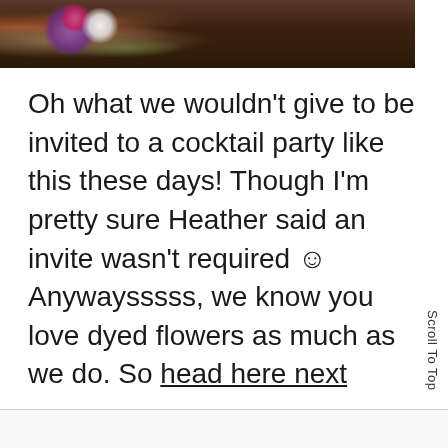[Figure (photo): Top portion of a floral photograph showing purple, white, and pink flowers against a dark brown background, cropped at the bottom.]
Oh what we wouldn't give to be invited to a cocktail party like this these days! Though I'm pretty sure Heather said an invite wasn't required ☺ Anywaysssss, we know you love dyed flowers as much as we do. So head here next
Scroll To Top